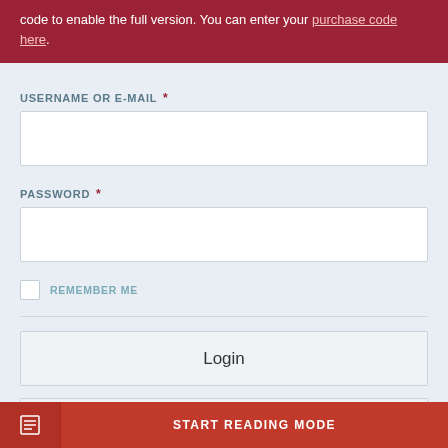code to enable the full version. You can enter your purchase code here.
USERNAME OR E-MAIL *
[Figure (screenshot): Empty username or e-mail text input field]
PASSWORD *
[Figure (screenshot): Empty password text input field]
REMEMBER ME
Login
Create an Account
START READING MODE